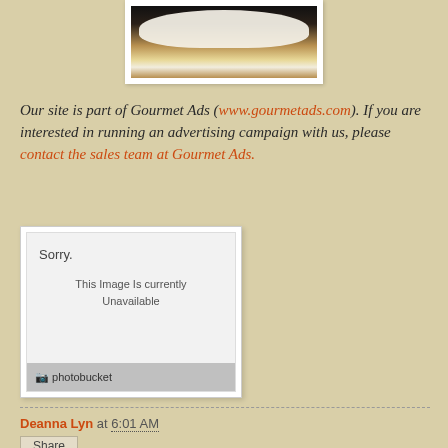[Figure (photo): Top portion of a food photo (appears to be a pastry or cake with cream/frosting) on white border, partially cropped at top of page]
Our site is part of Gourmet Ads (www.gourmetads.com). If you are interested in running an advertising campaign with us, please contact the sales team at Gourmet Ads.
[Figure (screenshot): Photobucket placeholder image showing 'Sorry. This Image Is Currently Unavailable' with photobucket logo footer]
Deanna Lyn at 6:01 AM
Share
No comments: